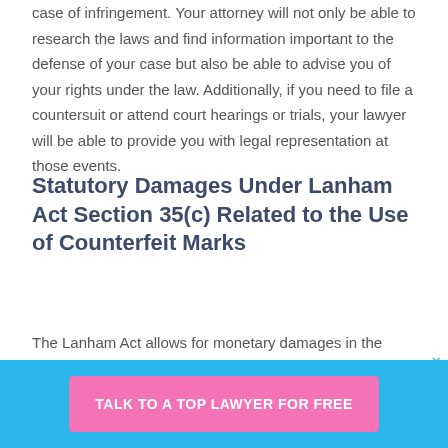case of infringement. Your attorney will not only be able to research the laws and find information important to the defense of your case but also be able to advise you of your rights under the law. Additionally, if you need to file a countersuit or attend court hearings or trials, your lawyer will be able to provide you with legal representation at those events.
Statutory Damages Under Lanham Act Section 35(c) Related to the Use of Counterfeit Marks
The Lanham Act allows for monetary damages in the event of: